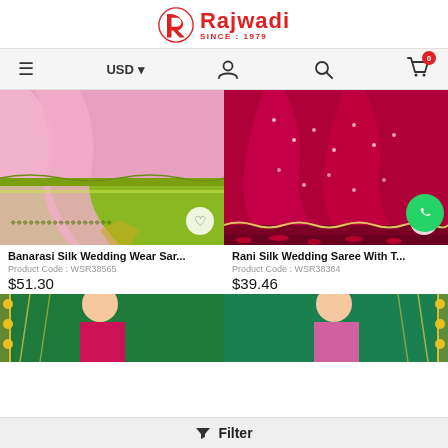[Figure (logo): Rajwadi logo with red R icon and text 'Rajwadi SINCE : 1979']
[Figure (screenshot): Navigation bar with hamburger menu, USD currency selector, user icon, search icon, and cart icon with 0 badge]
[Figure (photo): Pink and green Banarasi silk saree product photo with heart wishlist button]
Banarasi Silk Wedding Wear Sar...
Product Code : WSR38565
$51.30
[Figure (photo): Rani/magenta silk wedding saree product photo with heart wishlist button]
Rani Silk Wedding Saree With T...
Product Code : WSR38364
$39.46
[Figure (photo): Green and pink saree product photo (bottom left, partially visible)]
[Figure (photo): Green and pink saree product photo (bottom right, partially visible)]
Filter